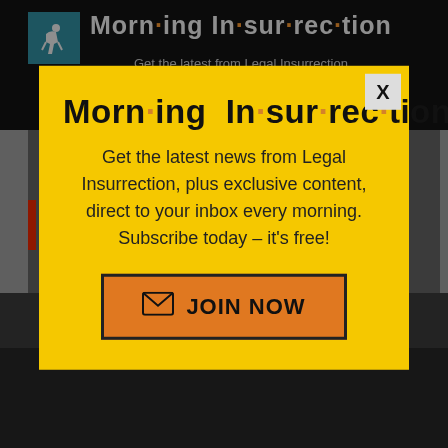Morn·ing In·sur·rec·tion — Get the latest from Legal Insurrection each morning plus exclusive Author content
Morn·ing In·sur·rec·tion
Get the latest news from Legal Insurrection, plus exclusive content, direct to your inbox every morning. Subscribe today – it's free!
JOIN NOW
to the full extent allowed by law
back to top